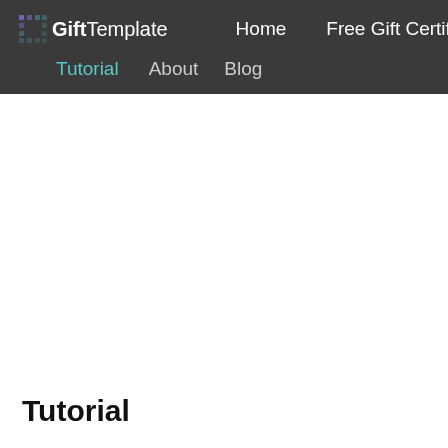GiftTemplate  Home  Free Gift Certificates  Tutorial  About  Blog
Tutorial